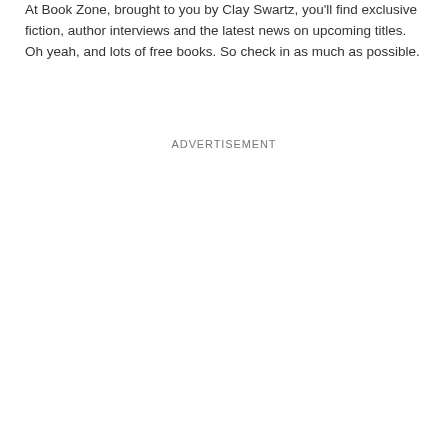At Book Zone, brought to you by Clay Swartz, you'll find exclusive fiction, author interviews and the latest news on upcoming titles. Oh yeah, and lots of free books. So check in as much as possible.
ADVERTISEMENT